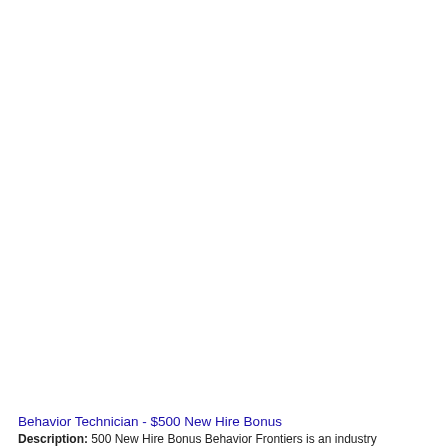Behavior Technician - $500 New Hire Bonus
Description: 500 New Hire Bonus Behavior Frontiers is an industry